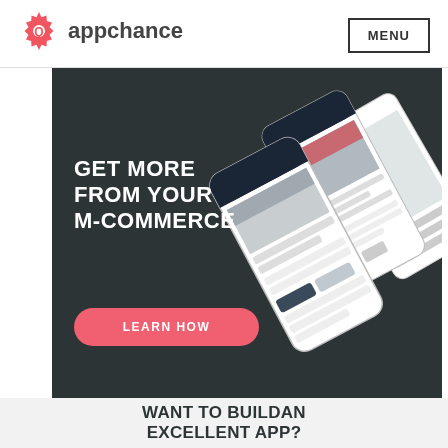appchance  MENU
[Figure (infographic): Dark background banner ad with text 'GET MORE FROM YOUR M-COMMERCE' and a pink 'LEARN HOW' button, with phone mockups showing m-commerce app screens on the right side]
WANT TO BUILDAN EXCELLENT APP?